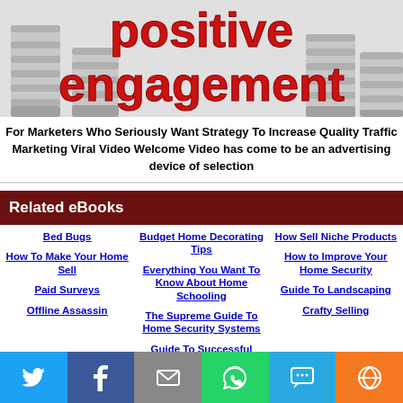[Figure (photo): Hero banner with stacked silver coins and bold red text reading 'positive engagement' on light gray background]
For Marketers Who Seriously Want Strategy To Increase Quality Traffic Marketing Viral Video Welcome Video has come to be an advertising device of selection
Related eBooks
Bed Bugs
How To Make Your Home Sell
Paid Surveys
Offline Assassin
Budget Home Decorating Tips
Everything You Want To Know About Home Schooling
The Supreme Guide To Home Security Systems
Guide To Successful Online Freelancing
How Sell Niche Products
How to Improve Your Home Security
Guide To Landscaping
Crafty Selling